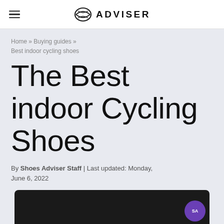ADVISER
Home » Buying guides » Best indoor cycling shoes
The Best indoor Cycling Shoes
By Shoes Adviser Staff | Last updated: Monday, June 6, 2022
[Figure (photo): Photo of indoor cycling shoes with a purple SA badge overlay]